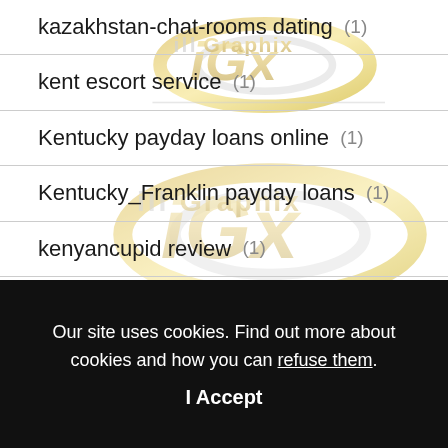[Figure (logo): illGraphix watermark logo repeated across background]
kazakhstan-chat-rooms dating (1)
kent escort service (1)
Kentucky payday loans online (1)
Kentucky_Franklin payday loans (1)
kenyancupid review (1)
kenyancupid visitors (1)
Our site uses cookies. Find out more about cookies and how you can refuse them.
I Accept